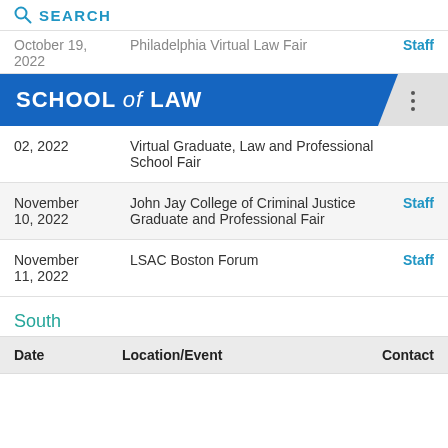SEARCH
| Date | Location/Event | Contact |
| --- | --- | --- |
| October 19, 2022 | Philadelphia Virtual Law Fair | Staff |
| 02, 2022 | Virtual Graduate, Law and Professional School Fair |  |
| November 10, 2022 | John Jay College of Criminal Justice Graduate and Professional Fair | Staff |
| November 11, 2022 | LSAC Boston Forum | Staff |
South
| Date | Location/Event | Contact |
| --- | --- | --- |